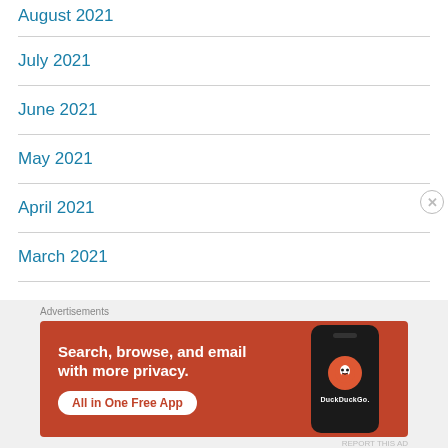August 2021
July 2021
June 2021
May 2021
April 2021
March 2021
[Figure (other): DuckDuckGo advertisement banner with orange background showing phone mockup and text: Search, browse, and email with more privacy. All in One Free App]